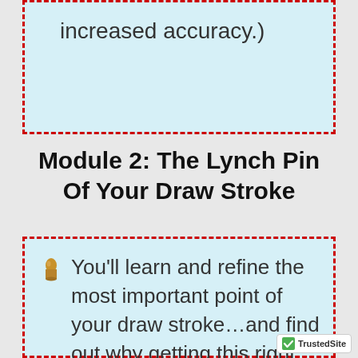increased accuracy.)
Module 2: The Lynch Pin Of Your Draw Stroke
You'll learn and refine the most important point of your draw stroke…and find out why getting this right, gives you a SINGLE